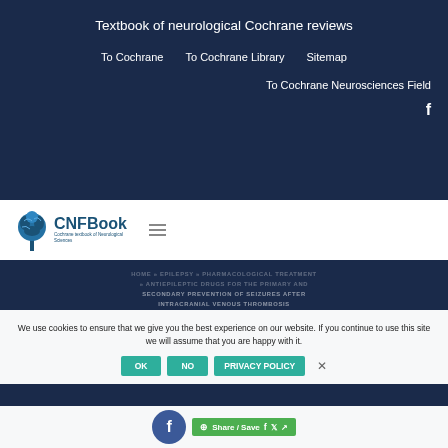Textbook of neurological Cochrane reviews
To Cochrane   To Cochrane Library   Sitemap
To Cochrane Neurosciences Field
[Figure (logo): CNFBook logo — Cochrane Textbook of Neurological Sciences brain icon with text]
HOME » EPILEPSY » PHARMACOLOGICAL TREATMENT » ANTIEPILEPTIC DRUGS FOR THE PRIMARY AND SECONDARY PREVENTION OF SEIZURES AFTER INTRACRANIAL VENOUS THROMBOSIS
We use cookies to ensure that we give you the best experience on our website. If you continue to use this site we will assume that you are happy with it.
OK   NO   PRIVACY POLICY
Share / Save